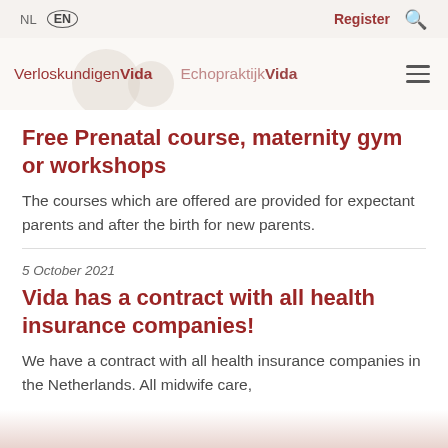NL  EN  Register
[Figure (logo): VerloskundigenVida and EchopraktijkVida logos with decorative circles, hamburger menu icon]
Free Prenatal course, maternity gym or workshops
The courses which are offered are provided for expectant parents and after the birth for new parents.
5 October 2021
Vida has a contract with all health insurance companies!
We have a contract with all health insurance companies in the Netherlands. All midwife care,